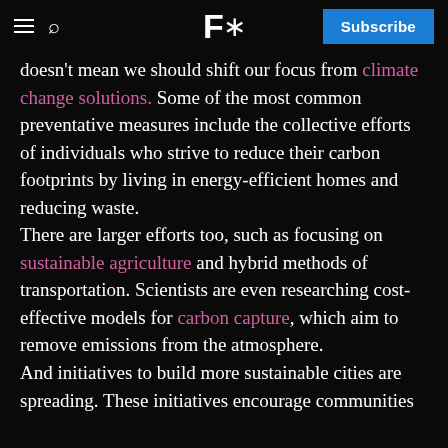F* | Subscribe
doesn't mean we should shift our focus from climate change solutions. Some of the most common preventative measures include the collective efforts of individuals who strive to reduce their carbon footprints by living in energy-efficient homes and reducing waste.
There are larger efforts too, such as focusing on sustainable agriculture and hybrid methods of transportation. Scientists are even researching cost-effective models for carbon capture, which aim to remove emissions from the atmosphere.
And initiatives to build more sustainable cities are spreading. These initiatives encourage communities